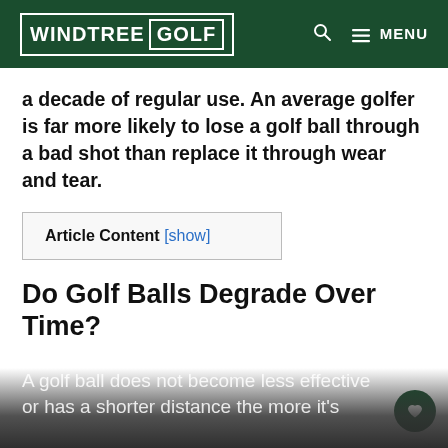WINDTREE GOLF
a decade of regular use. An average golfer is far more likely to lose a golf ball through a bad shot than replace it through wear and tear.
Article Content [show]
Do Golf Balls Degrade Over Time?
A golf ball does not become less effective or has a shorter distance the more it's